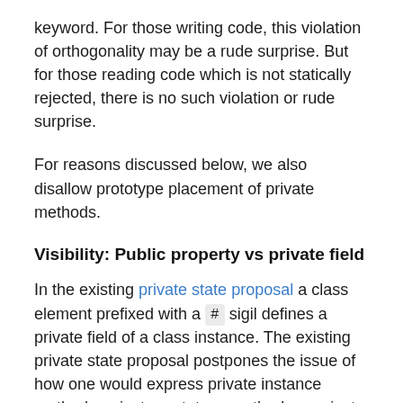keyword. For those writing code, this violation of orthogonality may be a rude surprise. But for those reading code which is not statically rejected, there is no such violation or rude surprise.
For reasons discussed below, we also disallow prototype placement of private methods.
Visibility: Public property vs private field
In the existing private state proposal a class element prefixed with a # sigil defines a private field of a class instance. The existing private state proposal postpones the issue of how one would express private instance methods, private prototype methods or private static methods. In this proposal any class element that defines a member name that is prefixed with a # sigil defines a private field. The instance, prototype, or class/constructor placement is orthogonally determined based upon the placement